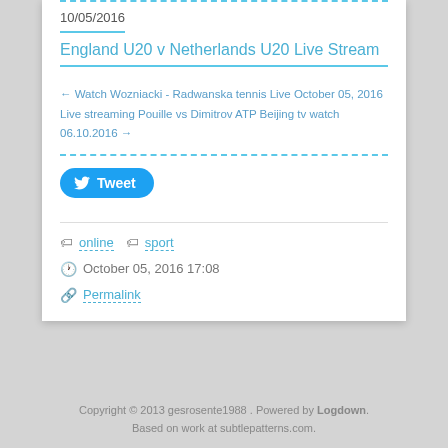10/05/2016
England U20 v Netherlands U20 Live Stream
← Watch Wozniacki - Radwanska tennis Live October 05, 2016
Live streaming Pouille vs Dimitrov ATP Beijing tv watch 06.10.2016 →
Tweet
online  sport
October 05, 2016 17:08
Permalink
Copyright © 2013 gesrosente1988 . Powered by Logdown.
Based on work at subtlepatterns.com.